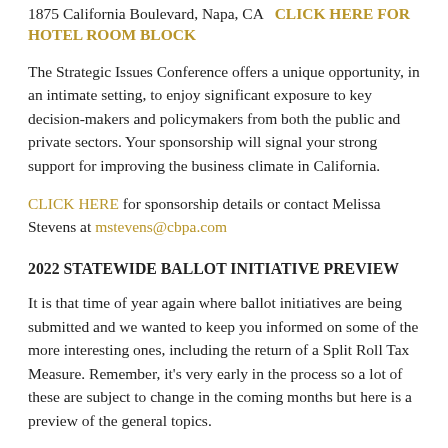1875 California Boulevard, Napa, CA   CLICK HERE FOR HOTEL ROOM BLOCK
The Strategic Issues Conference offers a unique opportunity, in an intimate setting, to enjoy significant exposure to key decision-makers and policymakers from both the public and private sectors. Your sponsorship will signal your strong support for improving the business climate in California.
CLICK HERE for sponsorship details or contact Melissa Stevens at mstevens@cbpa.com
2022 STATEWIDE BALLOT INITIATIVE PREVIEW
It is that time of year again where ballot initiatives are being submitted and we wanted to keep you informed on some of the more interesting ones, including the return of a Split Roll Tax Measure. Remember, it's very early in the process so a lot of these are subject to change in the coming months but here is a preview of the general topics.
Public Employee Labor Organizations – Amends the